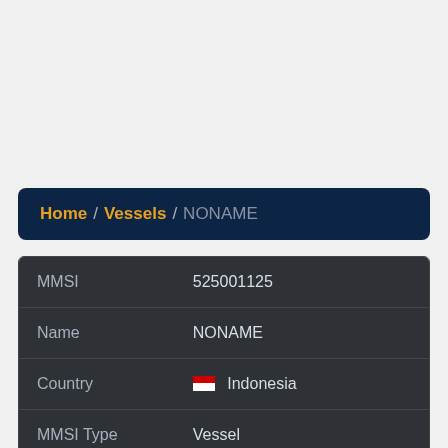Home / Vessels / NONAME
| Field | Value |
| --- | --- |
| MMSI | 525001125 |
| Name | NONAME |
| Country | 🇮🇩 Indonesia |
| MMSI Type | Vessel |
| Type |  |
| Class | A |